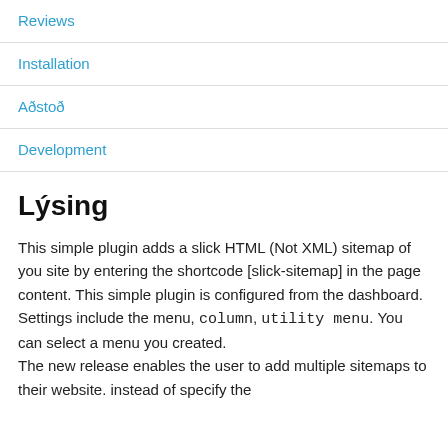Reviews
Installation
Aðstoð
Development
Lýsing
This simple plugin adds a slick HTML (Not XML) sitemap of you site by entering the shortcode [slick-sitemap] in the page content. This simple plugin is configured from the dashboard. Settings include the menu, column, utility menu. You can select a menu you created.
The new release enables the user to add multiple sitemaps to their website. instead of specify the